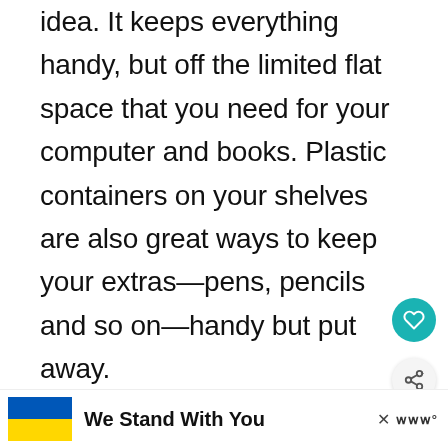idea. It keeps everything handy, but off the limited flat space that you need for your computer and books. Plastic containers on your shelves are also great ways to keep your extras—pens, pencils and so on—handy but put away.
[Figure (screenshot): UI buttons: teal heart/favorite button and grey share button on right side]
[Figure (photo): A rectangular grey/silver object (likely a shelf or storage container) shown from front angle]
[Figure (screenshot): What's Next teaser: circular thumbnail of shelving/blinds, label WHAT'S NEXT with arrow, text 'Back to School...']
[Figure (infographic): Advertisement bar: Ukrainian flag (blue and yellow), bold text 'We Stand With You', close X button, W logo]